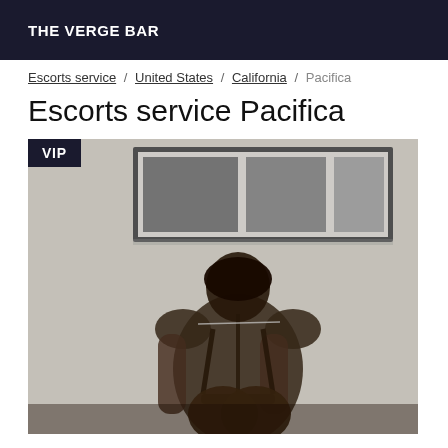THE VERGE BAR
Escorts service / United States / California / Pacifica
Escorts service Pacifica
[Figure (photo): Photo of a person standing with back to camera in a room with framed artwork on wall. VIP badge overlay in top-left corner.]